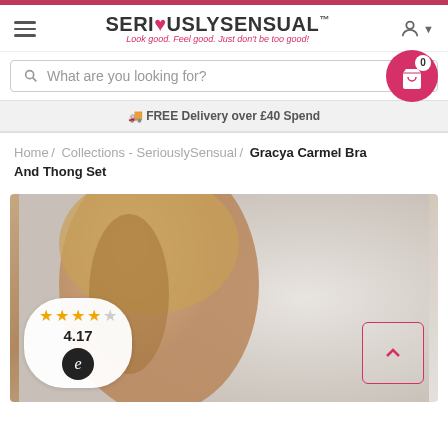SERI❤USLYSENSUAL™ — Look good. Feel good. Just don't be too good!
What are you looking for?
FREE Delivery over £40 Spend
Home / Collections - SeriouslySensual / Gracya Carmel Bra And Thong Set
[Figure (photo): Model wearing a nude/beige bra (Gracya Carmel Bra And Thong Set), blonde hair, dark eye makeup, posing against a grey gradient background. Review badge overlay in bottom left shows 4 filled stars and 1 empty star, rating 4.17, with an Econsultancy-style 'e' logo circle.]